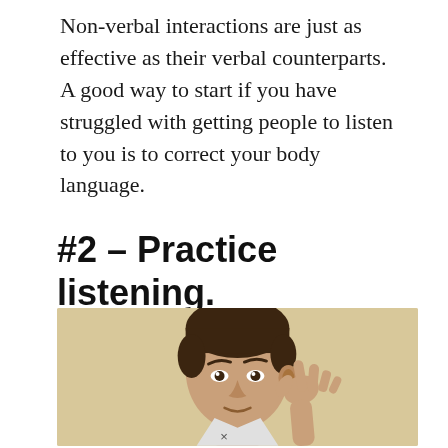Non-verbal interactions are just as effective as their verbal counterparts. A good way to start if you have struggled with getting people to listen to you is to correct your body language.
#2 – Practice listening.
[Figure (photo): A man holding his hand near his ear in a listening pose, photographed against a beige/tan background, cropped to show head and upper body.]
×